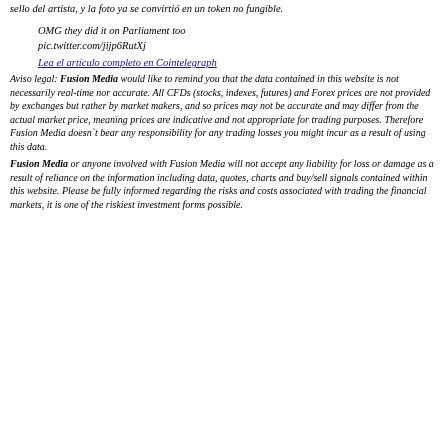sello del artista, y la foto ya se convirtió en un token no fungible.
OMG they did it on Parliament too
pic.twitter.com/jijp6RutXj
Lea el artículo completo en Cointelegraph
Aviso legal: Fusion Media would like to remind you that the data contained in this website is not necessarily real-time nor accurate. All CFDs (stocks, indexes, futures) and Forex prices are not provided by exchanges but rather by market makers, and so prices may not be accurate and may differ from the actual market price, meaning prices are indicative and not appropriate for trading purposes. Therefore Fusion Media doesn`t bear any responsibility for any trading losses you might incur as a result of using this data.
Fusion Media or anyone involved with Fusion Media will not accept any liability for loss or damage as a result of reliance on the information including data, quotes, charts and buy/sell signals contained within this website. Please be fully informed regarding the risks and costs associated with trading the financial markets, it is one of the riskiest investment forms possible.